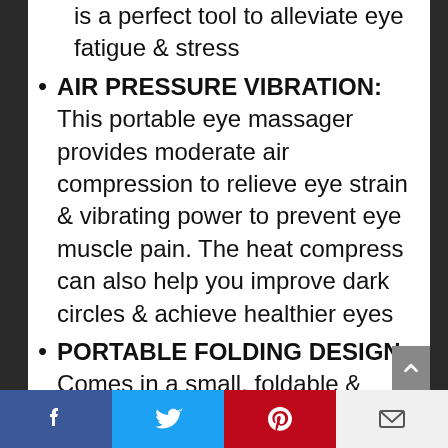is a perfect tool to alleviate eye fatigue & stress
AIR PRESSURE VIBRATION: This portable eye massager provides moderate air compression to relieve eye strain & vibrating power to prevent eye muscle pain. The heat compress can also help you improve dark circles & achieve healthier eyes
PORTABLE FOLDING DESIGN: Comes in a small, foldable & fashionable goggle visor style which makes it easy to carry around. The compact